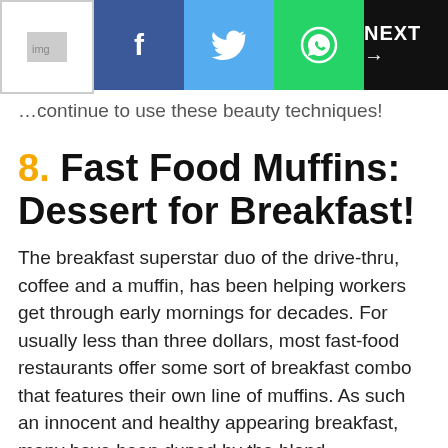NEXT →
...continue to use these beauty techniques!
8. Fast Food Muffins: Dessert for Breakfast!
The breakfast superstar duo of the drive-thru, coffee and a muffin, has been helping workers get through early mornings for decades. For usually less than three dollars, most fast-food restaurants offer some sort of breakfast combo that features their own line of muffins. As such an innocent and healthy appearing breakfast, many have been duped by the bland appearances of fast-food muffins. Unfortunately for muffin fans, these tiny little